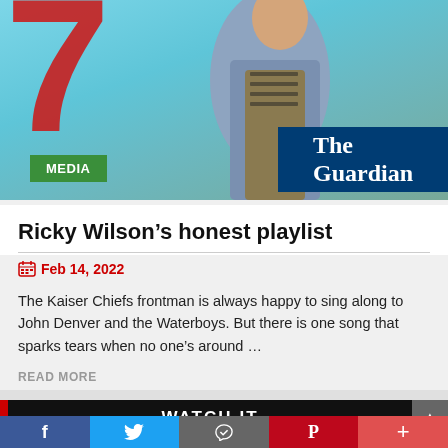[Figure (photo): A man in a blue jacket and striped undershirt standing in front of a colorful mural (red on light blue brick wall). The Guardian logo badge is in the bottom right of the image. A green MEDIA badge is overlaid on the lower left of the photo.]
Ricky Wilson’s honest playlist
Feb 14, 2022
The Kaiser Chiefs frontman is always happy to sing along to John Denver and the Waterboys. But there is one song that sparks tears when no one’s around …
READ MORE
WATCH IT
f
🐦
P
+